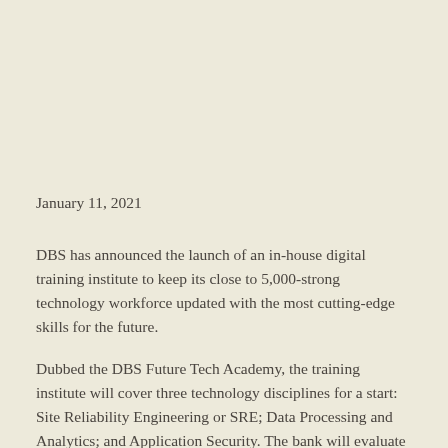January 11, 2021
DBS has announced the launch of an in-house digital training institute to keep its close to 5,000-strong technology workforce updated with the most cutting-edge skills for the future.
Dubbed the DBS Future Tech Academy, the training institute will cover three technology disciplines for a start: Site Reliability Engineering or SRE; Data Processing and Analytics; and Application Security. The bank will evaluate more programmes to cover other key technology domains in the next twelve months.